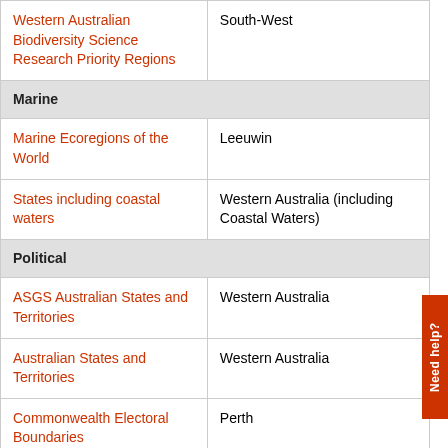| Category | Value |
| --- | --- |
| Western Australian Biodiversity Science Research Priority Regions | South-West |
| Marine |  |
| Marine Ecoregions of the World | Leeuwin |
| States including coastal waters | Western Australia (including Coastal Waters) |
| Political |  |
| ASGS Australian States and Territories | Western Australia |
| Australian States and Territories | Western Australia |
| Commonwealth Electoral Boundaries | Perth |
| Local Government Areas 2011 | Perth (C) |
| Local Government Areas | Perth |